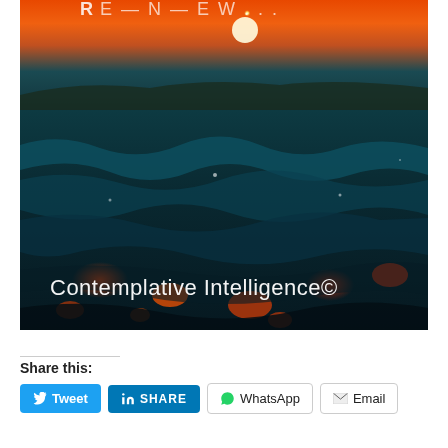[Figure (photo): Ocean waves at sunset/twilight with dramatic orange-red sky. White text overlay at bottom reads 'Contemplative Intelligence©'. Title text partially visible at top.]
Share this:
Tweet  |  SHARE  |  WhatsApp  |  Email